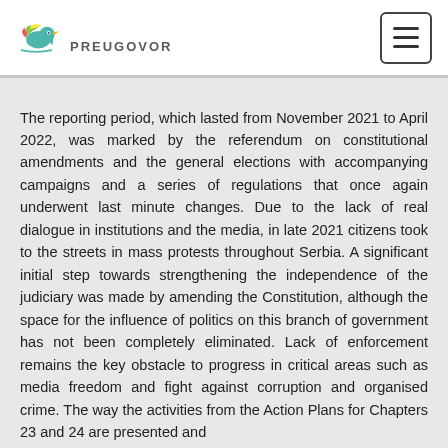PREUGOVOR
The reporting period, which lasted from November 2021 to April 2022, was marked by the referendum on constitutional amendments and the general elections with accompanying campaigns and a series of regulations that once again underwent last minute changes. Due to the lack of real dialogue in institutions and the media, in late 2021 citizens took to the streets in mass protests throughout Serbia. A significant initial step towards strengthening the independence of the judiciary was made by amending the Constitution, although the space for the influence of politics on this branch of government has not been completely eliminated. Lack of enforcement remains the key obstacle to progress in critical areas such as media freedom and fight against corruption and organised crime. The way the activities from the Action Plans for Chapters 23 and 24 are presented and